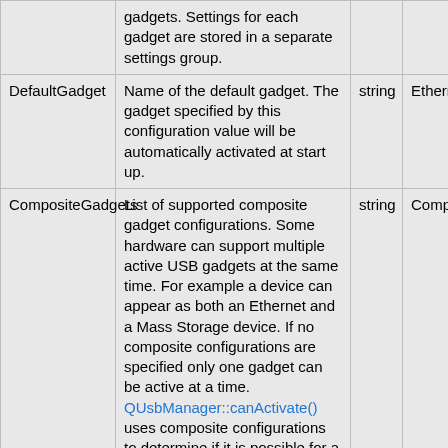|  |  |  |  |
| --- | --- | --- | --- |
|  | gadgets. Settings for each gadget are stored in a separate settings group. |  |  |
| DefaultGadget | Name of the default gadget. The gadget specified by this configuration value will be automatically activated at start up. | string | Ethernet |
| CompositeGadgets | List of supported composite gadget configurations. Some hardware can support multiple active USB gadgets at the same time. For example a device can appear as both an Ethernet and a Mass Storage device. If no composite configurations are specified only one gadget can be active at a time. QUsbManager::canActivate() uses composite configurations to determine if it is possible for a gadget to activate. | string | Composite... |